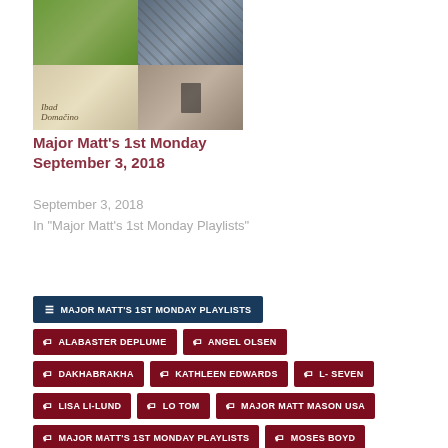[Figure (photo): Album art collage grid with four quadrants showing various album covers]
Major Matt's 1st Monday September 3, 2018
September 3, 2018
In "Major Matt's 1st Monday Playlists"
MAJOR MATT'S 1ST MONDAY PLAYLISTS
ALABASTER DEPLUME
ANGEL OLSEN
DAKHABRAKHA
KATHLEEN EDWARDS
L- SEVEN
LISA LI-LUND
LO TOM
MAJOR MATT MASON USA
MAJOR MATT'S 1ST MONDAY PLAYLISTS
MOSES BOYD
PINK FLOYD
SPOTIFY PLAYLIST